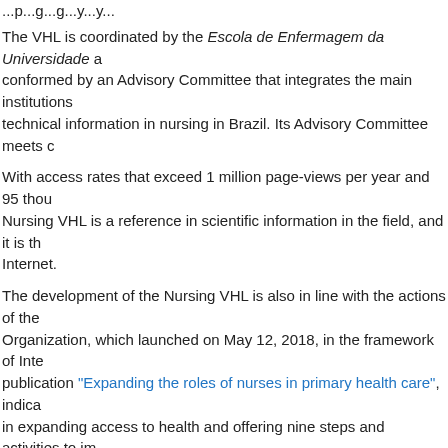The VHL is coordinated by the Escola de Enfermagem da Universidade ... conformed by an Advisory Committee that integrates the main institutions ... technical information in nursing in Brazil. Its Advisory Committee meets c...
With access rates that exceed 1 million page-views per year and 95 thou... Nursing VHL is a reference in scientific information in the field, and it is th... Internet.
The development of the Nursing VHL is also in line with the actions of the... Organization, which launched on May 12, 2018, in the framework of Inte... publication "Expanding the roles of nurses in primary health care", indica... in expanding access to health and offering nine steps and activities to im... practice nurses in the countries of the Americas.
According to Dr. Diego González, Director of BIREME/PAHO/WHO, "the... to information for nursing teams helps strengthen primary health care, es... where in many cases it is the nursing team that gives patients the first he... continue to support both the International Network and the national Nurs...
[Figure (other): Social sharing icons: Facebook, Twitter, Email, Pinterest, More]
Related News